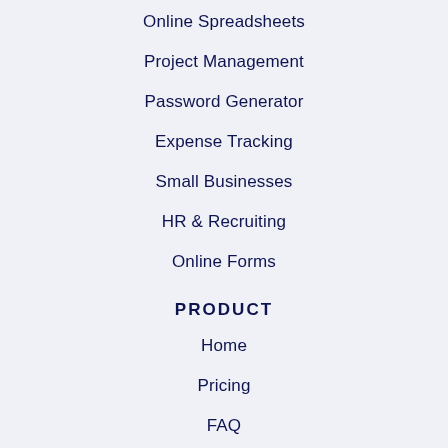Online Spreadsheets
Project Management
Password Generator
Expense Tracking
Small Businesses
HR & Recruiting
Online Forms
PRODUCT
Home
Pricing
FAQ
Online Spreadsheet Templates
Airtable Alternative